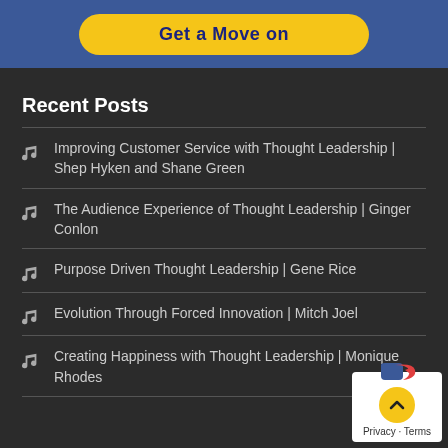[Figure (other): Yellow pill-shaped button on blue banner background, partially visible at top]
Recent Posts
Improving Customer Service with Thought Leadership | Shep Hyken and Shane Green
The Audience Experience of Thought Leadership | Ginger Conlon
Purpose Driven Thought Leadership | Gene Rice
Evolution Through Forced Innovation | Mitch Joel
Creating Happiness with Thought Leadership | Monique Rhodes